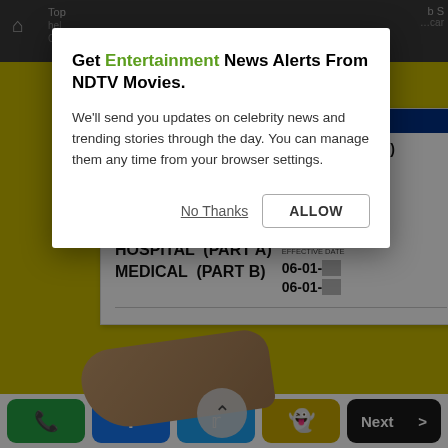[Figure (screenshot): Background of a website showing partially visible navigation bar at top, a yellow background with a Medicare card being held by a hand, and a partially visible article title at the bottom. Share buttons (WhatsApp, Facebook, Twitter, Snapchat, Next) appear at the very bottom.]
Get Entertainment News Alerts From NDTV Movies.
We'll send you updates on celebrity news and trending stories through the day. You can manage them any time from your browser settings.
No Thanks  ALLOW
All Adults On Medicare Receive A Huge Benefit (Check If